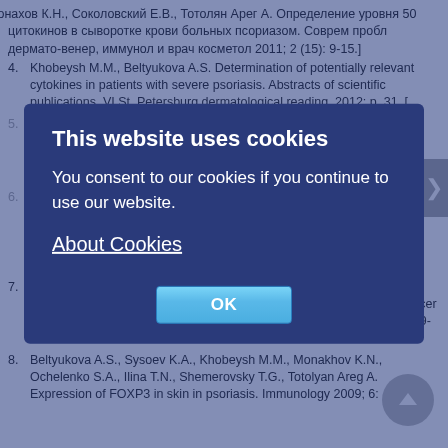[...Монахов К.Н., Соколовский Е.В., Тотолян Арег А. Определение уровня 50 цитокинов в сыворотке крови больных псориазом. Соврем пробл дермато-венер, иммунол и врач косметол 2011; 2 (15): 9-15.]
4. Khobeysh M.M., Beltyukova A.S. Determination of potentially relevant cytokines in patients with severe psoriasis. Abstracts of scientific publications. VI St. Petersburg dermatological reading. 2012: p. 31. [
5. Хобейш М.М., Бельтюкова А.С. Определение определения потенциально значимых цитокинов у больных тяжёлыми формами псориаза. Тезисы научных работ VI Санкт-Петербургские ...
6. ...schlaak J.F., Buslau M., Jochum W., Hermann E., Girndt M., Gallati H., Meyer zum Büschenfelde K.H., Fleischer B. T cells involved in psoriasis vulgaris ... Th1 subset. J Invest Dermatol 1994; 102 (2): 145-149.
7. Nickoloff B.J., Karabin G.D., Barker J.N., Griffiths C.E., Sarma V., Mitra R.S., Elder J.T., Kunkel S.L., Dixit V.M. Localization of IL-8 and its inducer tumor necrosis factor-alpha in psoriasis. Am J Pathol 1991; 138 (1): 129-140.
8. Beltyukova A.S., Sysoev K.A., Khobeysh M.M., Monakhov K.N., Ochelenko S.A., Ilina T.N., Shemerovsky T.G., Totolyan Areg A. Expression of FOXP3 in skin in psoriasis. Immunology 2009; 6: